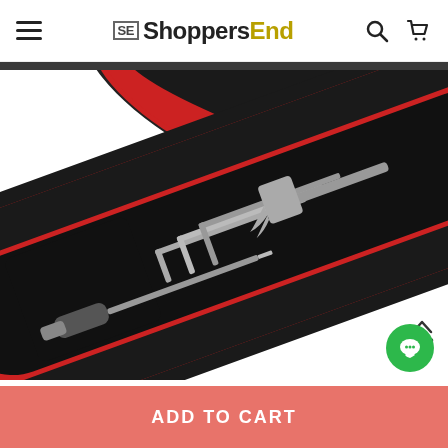ShoppersEnd
[Figure (photo): A red and black magnetic wristband tool holder with a screwdriver, hex keys/Allen wrenches, and a small hammer held magnetically on the red fabric surface, photographed on a white background.]
TOP
ADD TO CART